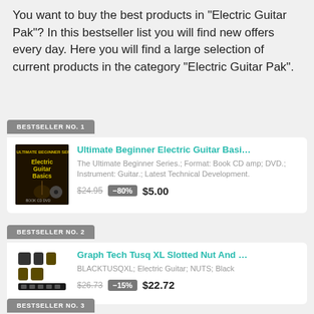You want to buy the best products in “Electric Guitar Pak”? In this bestseller list you will find new offers every day. Here you will find a large selection of current products in the category “Electric Guitar Pak”.
BESTSELLER NO. 1
[Figure (photo): Book cover for Ultimate Beginner Electric Guitar Basics]
Ultimate Beginner Electric Guitar Basi...
The Ultimate Beginner Series.; Format: Book CD amp; DVD.; Instrument: Guitar.; Latest Technical Development.
$24.95  -80%  $5.00
BESTSELLER NO. 2
[Figure (photo): Graph Tech Tusq XL Slotted Nut and saddle hardware, black]
Graph Tech Tusq XL Slotted Nut And ...
BLACKTUSQXL; Electric Guitar; NUTS; Black
$26.73  -15%  $22.72
BESTSELLER NO. 3